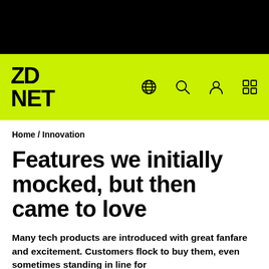[Figure (logo): ZDNet logo on lime green navigation bar with globe, search, user, and grid icons]
Home / Innovation
Features we initially mocked, but then came to love
Many tech products are introduced with great fanfare and excitement. Customers flock to buy them, even sometimes standing in line for